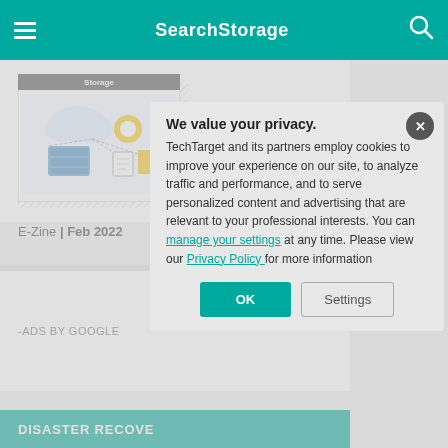SearchStorage
[Figure (screenshot): E-Zine cover thumbnail showing Storage magazine with cloud and storage device illustrations]
E-Zine | Feb 2022
-ADS BY GOOGLE
DISASTER RECOVE
We value your privacy.
TechTarget and its partners employ cookies to improve your experience on our site, to analyze traffic and performance, and to serve personalized content and advertising that are relevant to your professional interests. You can manage your settings at any time. Please view our Privacy Policy for more information